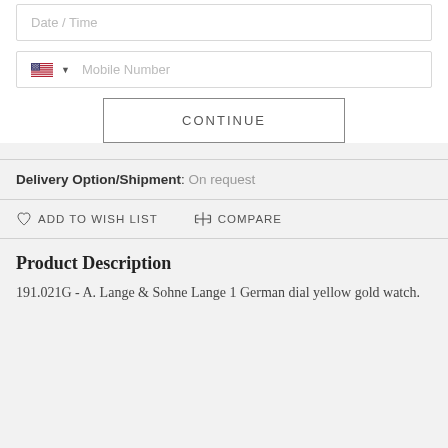Date / Time
Mobile Number
CONTINUE
Delivery Option/Shipment: On request
ADD TO WISH LIST   COMPARE
Product Description
191.021G - A. Lange & Sohne Lange 1 German dial yellow gold watch.